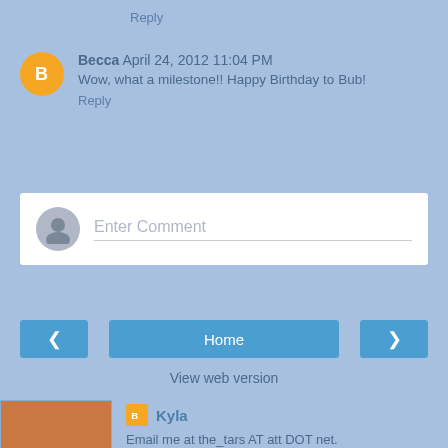Reply
Becca  April 24, 2012 11:04 PM
Wow, what a milestone!! Happy Birthday to Bub!
Reply
Enter Comment
Home
View web version
Kyla
Email me at the_tars AT att DOT net.
View my complete profile